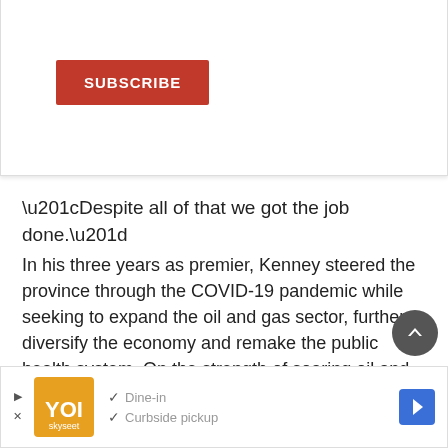[Figure (other): Subscribe button UI element with orange/red background and white text reading SUBSCRIBE]
“Despite all of that we got the job done.”
In his three years as premier, Kenney steered the province through the COVID-19 pandemic while seeking to expand the oil and gas sector, further diversify the economy and remake the public health system. On the strength of soaring oil and gas prices, he balanced the budget for the first time in years.
[Figure (other): Scroll-to-top circular dark grey button with upward chevron arrow]
[Figure (other): Advertisement banner with orange logo, Dine-in and Curbside pickup checkmarks, and blue navigation arrow icon]